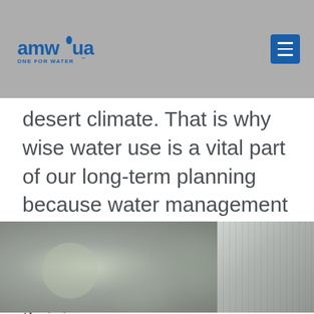amwua ONE FOR WATER
desert climate. That is why wise water use is a vital part of our long-term planning because water management and efficient water use provide the foundation for sustainable growth and a thriving economy.
[Figure (photo): Two photographs side by side at the bottom of the page: left photo shows blurred green foliage/plants; right photo shows water infrastructure or treatment facility equipment.]